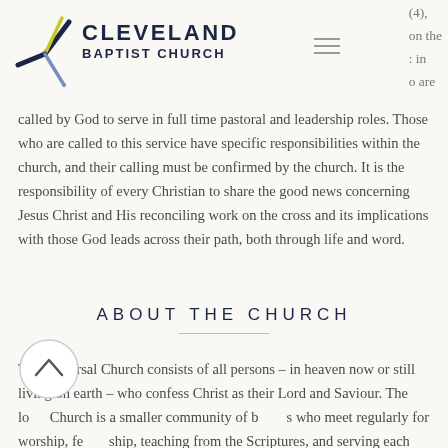CLEVELAND BAPTIST CHURCH
called by God to serve in full time pastoral and leadership roles. Those who are called to this service have specific responsibilities within the church, and their calling must be confirmed by the church. It is the responsibility of every Christian to share the good news concerning Jesus Christ and His reconciling work on the cross and its implications with those God leads across their path, both through life and word.
ABOUT THE CHURCH
The universal Church consists of all persons – in heaven now or still living on earth – who confess Christ as their Lord and Saviour. The local Church is a smaller community of believers who meet regularly for worship, fellowship, teaching from the Scriptures, and serving each other. A healthy church is